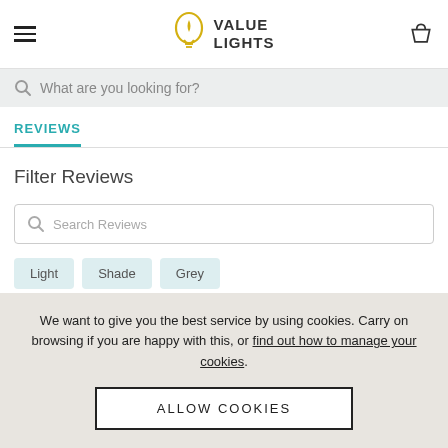VALUE LIGHTS
What are you looking for?
REVIEWS
Filter Reviews
Search Reviews
Light
Shade
Grey
We want to give you the best service by using cookies. Carry on browsing if you are happy with this, or find out how to manage your cookies.
ALLOW COOKIES